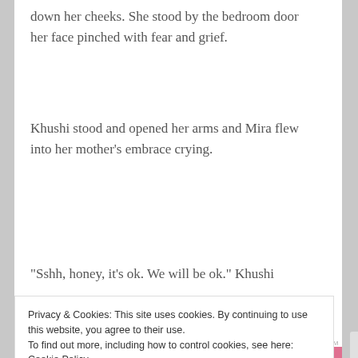down her cheeks. She stood by the bedroom door her face pinched with fear and grief.
Khushi stood and opened her arms and Mira flew into her mother’s embrace crying.
“Sshh, honey, it’s ok. We will be ok.” Khushi
Privacy & Cookies: This site uses cookies. By continuing to use this website, you agree to their use.
To find out more, including how to control cookies, see here: Cookie Policy